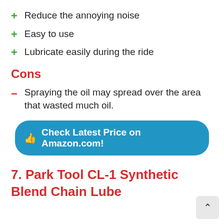Reduce the annoying noise
Easy to use
Lubricate easily during the ride
Cons
Spraying the oil may spread over the area that wasted much oil.
Check Latest Price on Amazon.com!
7. Park Tool CL-1 Synthetic Blend Chain Lube